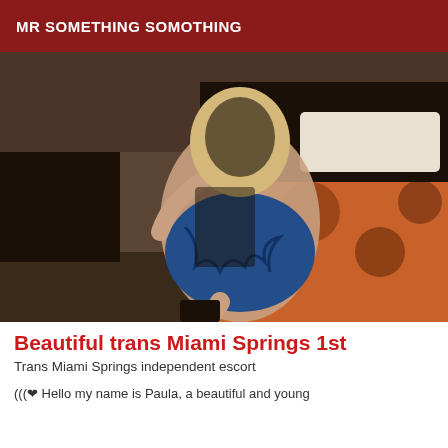MR SOMETHING SOMOTHING
[Figure (photo): Person posing in a hotel room wearing blue metallic bikini top and blue cutout shorts, kneeling on a patterned bedspread]
Beautiful trans Miami Springs 1st
Trans Miami Springs independent escort
(((❤ Hello my name is Paula, a beautiful and young